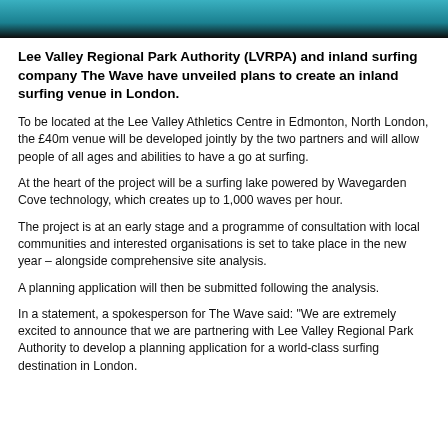[Figure (photo): Header image with teal/cyan water and dark banner at bottom]
Lee Valley Regional Park Authority (LVRPA) and inland surfing company The Wave have unveiled plans to create an inland surfing venue in London.
To be located at the Lee Valley Athletics Centre in Edmonton, North London, the £40m venue will be developed jointly by the two partners and will allow people of all ages and abilities to have a go at surfing.
At the heart of the project will be a surfing lake powered by Wavegarden Cove technology, which creates up to 1,000 waves per hour.
The project is at an early stage and a programme of consultation with local communities and interested organisations is set to take place in the new year – alongside comprehensive site analysis.
A planning application will then be submitted following the analysis.
In a statement, a spokesperson for The Wave said: "We are extremely excited to announce that we are partnering with Lee Valley Regional Park Authority to develop a planning application for a world-class surfing destination in London.